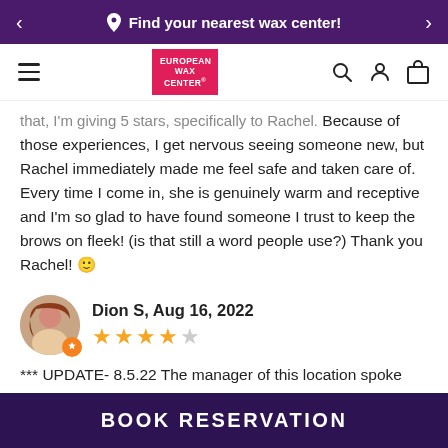Find your nearest wax center!
[Figure (logo): European Wax Center logo in red rectangle with white text]
that, I'm giving 5 stars, specifically to Rachel. Because of those experiences, I get nervous seeing someone new, but Rachel immediately made me feel safe and taken care of. Every time I come in, she is genuinely warm and receptive and I'm so glad to have found someone I trust to keep the brows on fleek! (is that still a word people use?) Thank you Rachel! 🙂
Dion S, Aug 16, 2022
★★★★☆
*** UPDATE- 8.5.22 The manager of this location spoke with me today. They are going to
BOOK RESERVATION